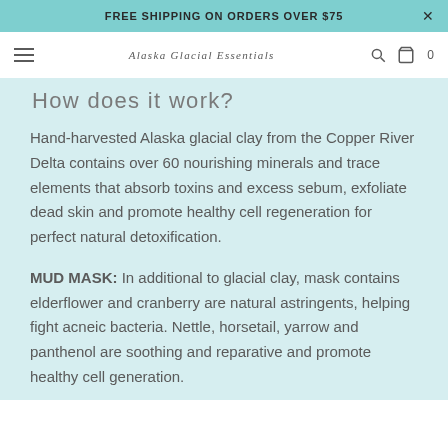FREE SHIPPING ON ORDERS OVER $75
ALASKA GLACIAL ESSENTIALS
How does it work?
Hand-harvested Alaska glacial clay from the Copper River Delta contains over 60 nourishing minerals and trace elements that absorb toxins and excess sebum, exfoliate dead skin and promote healthy cell regeneration for perfect natural detoxification.
MUD MASK: In additional to glacial clay, mask contains elderflower and cranberry are natural astringents, helping fight acneic bacteria. Nettle, horsetail, yarrow and panthenol are soothing and reparative and promote healthy cell generation.